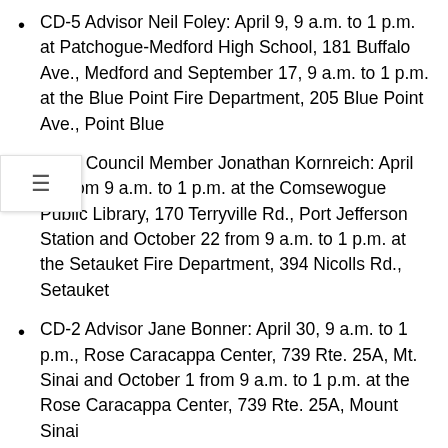CD-5 Advisor Neil Foley: April 9, 9 a.m. to 1 p.m. at Patchogue-Medford High School, 181 Buffalo Ave., Medford and September 17, 9 a.m. to 1 p.m. at the Blue Point Fire Department, 205 Blue Point Ave., Point Blue
CD-1 Council Member Jonathan Kornreich: April 23 from 9 a.m. to 1 p.m. at the Comsewogue Public Library, 170 Terryville Rd., Port Jefferson Station and October 22 from 9 a.m. to 1 p.m. at the Setauket Fire Department, 394 Nicolls Rd., Setauket
CD-2 Advisor Jane Bonner: April 30, 9 a.m. to 1 p.m., Rose Caracappa Center, 739 Rte. 25A, Mt. Sinai and October 1 from 9 a.m. to 1 p.m. at the Rose Caracappa Center, 739 Rte. 25A, Mount Sinai
CD-4 Councilman Michael Loguercio: May 21, 9:30 a.m. to 1:30 p.m. at Brookhaven Town Hall, South Parking Lot, 1 Independence Hill, Farmingville and November 5, 9:30 a.m. to 1:30 p.m. South Library Country Public Drive, 22 Station Rd., Bellport
CD-6 Counselor Dan Panico: June 4 from 9 a.m. to 1 p.m. at William Floyd Middle School, 630 Moriches-Middle Island Rd., Moriches and October 15 from 9 a.m. to 1 p.m. at Center Moriches